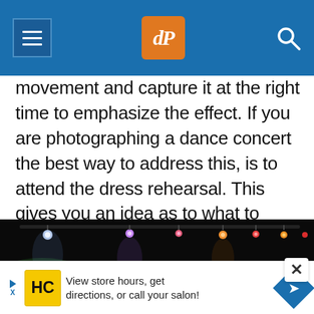dPS (Digital Photography School) navigation header
movement and capture it at the right time to emphasize the effect. If you are photographing a dance concert the best way to address this, is to attend the dress rehearsal. This gives you an idea as to what to expect on the day. What will the lights be like and most importantly what are the critical moments that you need to capture and the best location from which to capture them?
[Figure (photo): Dark concert stage photo showing colorful stage lights (purple, orange, red) suspended from the ceiling against a black background]
[Figure (infographic): Advertisement banner: HC logo with text 'View store hours, get directions, or call your salon!' and a blue navigation arrow diamond]